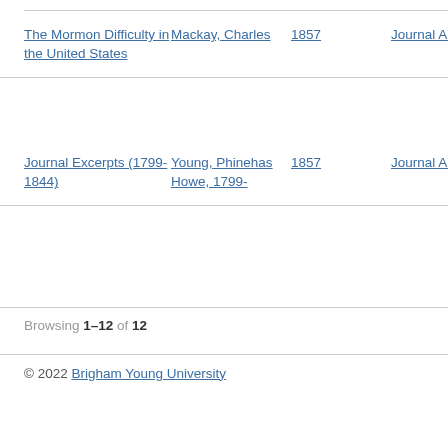The Mormon Difficulty in the United States | Mackay, Charles | 1857 | Journal Article
Journal Excerpts (1799-1844) | Young, Phinehas Howe, 1799- | 1857 | Journal Article
Browsing 1–12 of 12
© 2022 Brigham Young University